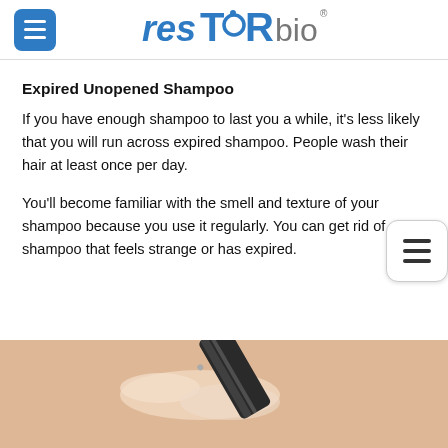resTORbio
Expired Unopened Shampoo
If you have enough shampoo to last you a while, it’s less likely that you will run across expired shampoo. People wash their hair at least once per day.
You’ll become familiar with the smell and texture of your shampoo because you use it regularly. You can get rid of any shampoo that feels strange or has expired.
[Figure (photo): A shampoo or lotion tube dispensing cream/lotion product on a peach/skin-toned background with liquid splash visible]